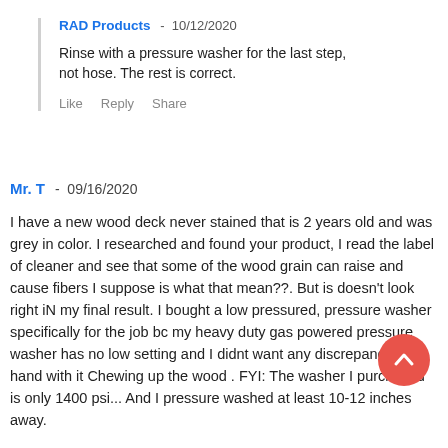RAD Products - 10/12/2020
Rinse with a pressure washer for the last step, not hose. The rest is correct.
Like  Reply  Share
Mr. T - 09/16/2020
I have a new wood deck never stained that is 2 years old and was grey in color. I researched and found your product, I read the label of cleaner and see that some of the wood grain can raise and cause fibers I suppose is what that mean??. But is doesn't look right iN my final result. I bought a low pressured, pressure washer specifically for the job bc my heavy duty gas powered pressure washer has no low setting and I didnt want any discrepancies on hand with it Chewing up the wood . FYI: The washer I purchased is only 1400 psi... And I pressure washed at least 10-12 inches away.
So my question is, what's normal raised wood grain that the product causes?
It looks like I pressure washed close up with a gas powered machine, which I did not! I was thoroughly careful and I pressure